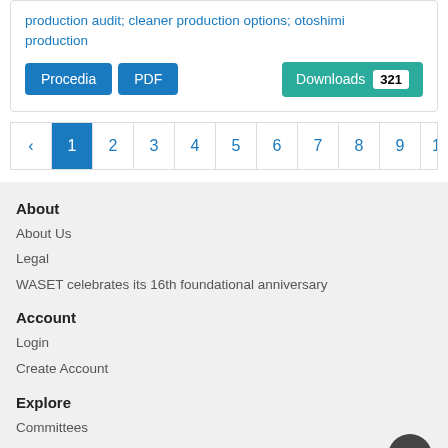production audit; cleaner production options; otoshimi production
Procedia  PDF  Downloads 321
‹ 1 2 3 4 5 6 7 8 9 10 ... 1
About
About Us
Legal
WASET celebrates its 16th foundational anniversary
Account
Login
Create Account
Explore
Committees
Conferences